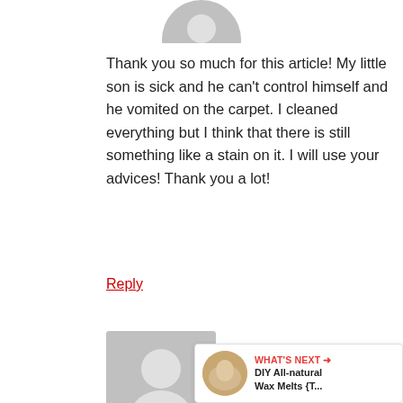[Figure (illustration): Cropped grey circular avatar icon at top of page]
Thank you so much for this article! My little son is sick and he can't control himself and he vomited on the carpet. I cleaned everything but I think that there is still something like a stain on it. I will use your advices! Thank you a lot!
Reply
[Figure (illustration): Grey square avatar placeholder with silhouette person icon]
Jane Jonnas says
[Figure (illustration): Share icon button (circular white button with share symbol)]
[Figure (photo): What's Next widget showing a thumbnail image of wax melts with label 'WHAT'S NEXT → DIY All-natural Wax Melts {T...']
Thank you!!!!! I really needed this after th... for my birthday last night. You really helped me